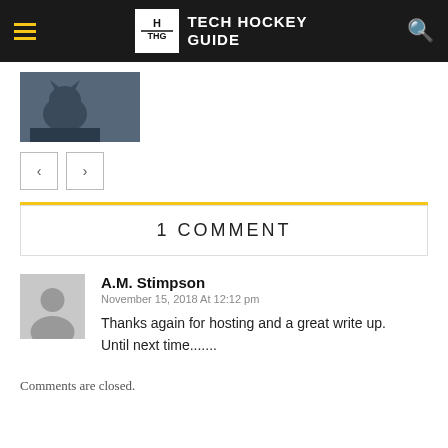Tech Hockey Guide
[Figure (photo): Thumbnail image of a dog (husky) in an outdoor setting]
1 COMMENT
A.M. Stimpson
November 15, 2018 At 12:12 pm
Thanks again for hosting and a great write up.
Until next time.......
Comments are closed.